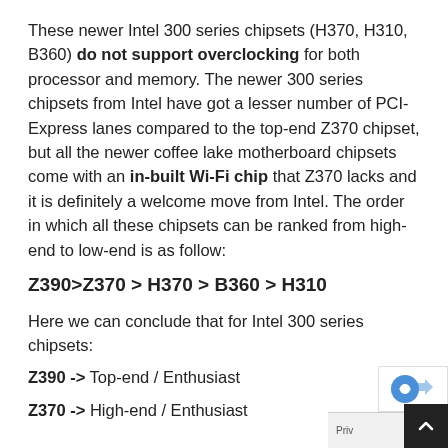These newer Intel 300 series chipsets (H370, H310, B360) do not support overclocking for both processor and memory. The newer 300 series chipsets from Intel have got a lesser number of PCI-Express lanes compared to the top-end Z370 chipset, but all the newer coffee lake motherboard chipsets come with an in-built Wi-Fi chip that Z370 lacks and it is definitely a welcome move from Intel. The order in which all these chipsets can be ranked from high-end to low-end is as follow:
Z390>Z370 > H370 > B360 > H310
Here we can conclude that for Intel 300 series chipsets:
Z390 -> Top-end / Enthusiast
Z370 -> High-end / Enthusiast